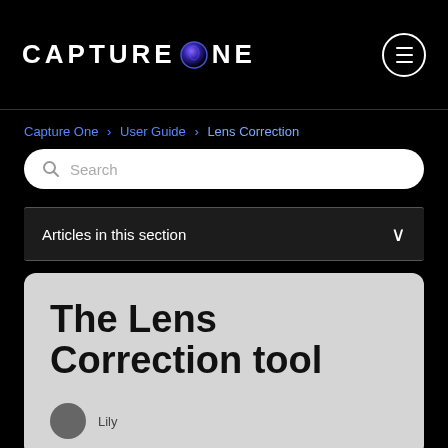CAPTURE ONE
Capture One > User Guide > Lens Correction
Search
Articles in this section
The Lens Correction tool
Lily